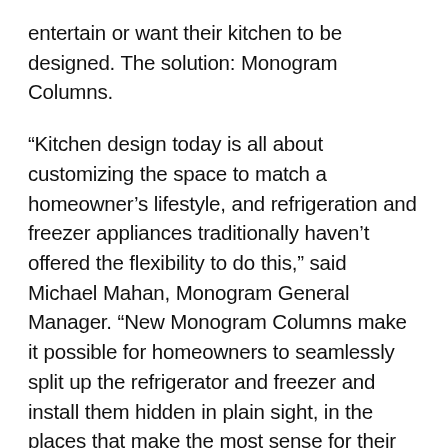entertain or want their kitchen to be designed. The solution: Monogram Columns.
“Kitchen design today is all about customizing the space to match a homeowner’s lifestyle, and refrigeration and freezer appliances traditionally haven’t offered the flexibility to do this,” said Michael Mahan, Monogram General Manager. “New Monogram Columns make it possible for homeowners to seamlessly split up the refrigerator and freezer and install them hidden in plain sight, in the places that make the most sense for their kitchen design and lifestyle needs while providing a uniform look.”
For the chefs who only keep fresh foods on hand, two refrigerators in the main hub of the kitchen might make more sense, with a freezer tucked away in a pantry. Or, for large families who meal prep for the week, having equally large refrigerator and freezer